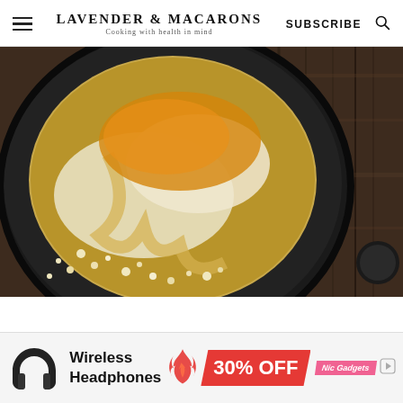LAVENDER & MACARONS — Cooking with health in mind | SUBSCRIBE
[Figure (photo): Close-up overhead photo of a cast iron skillet with a baked cheesy egg dish, partially eaten, with breadcrumbs scattered around. The skillet sits on a dark wooden surface.]
[Figure (infographic): Advertisement banner: Wireless Headphones 30% OFF — NiceGadgets promo with red arrow graphic and headphone image.]